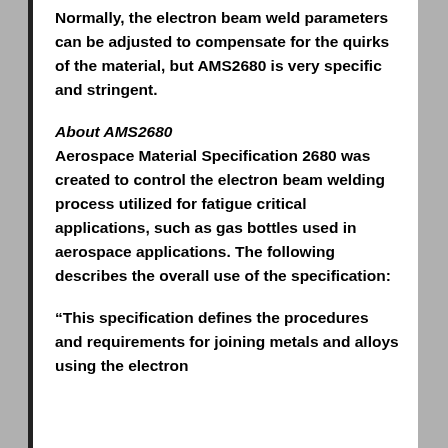Normally, the electron beam weld parameters can be adjusted to compensate for the quirks of the material, but AMS2680 is very specific and stringent.
About AMS2680
Aerospace Material Specification 2680 was created to control the electron beam welding process utilized for fatigue critical applications, such as gas bottles used in aerospace applications. The following describes the overall use of the specification:
“This specification defines the procedures and requirements for joining metals and alloys using the electron